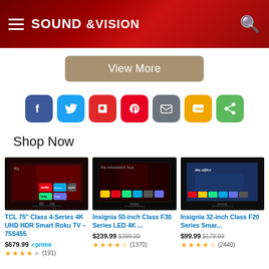Sound & Vision
View More
[Figure (other): Social sharing icons row: Facebook, Twitter, Flipboard, Pinterest, Email, SMS, Share]
Shop Now
[Figure (photo): TCL 75 inch Roku TV product image]
TCL 75" Class 4-Series 4K UHD HDR Smart Roku TV – 75S455
$679.99 prime ★★★★☆ (191)
[Figure (photo): Insignia 50-inch Class F30 Series LED 4K TV product image]
Insignia 50-inch Class F30 Series LED 4K ...
$239.99 $399.99 ★★★★½ (1370)
[Figure (photo): Insignia 32-inch Class F20 Series Smart TV product image]
Insignia 32-inch Class F20 Series Smar...
$99.99 $179.99 ★★★★½ (2440)